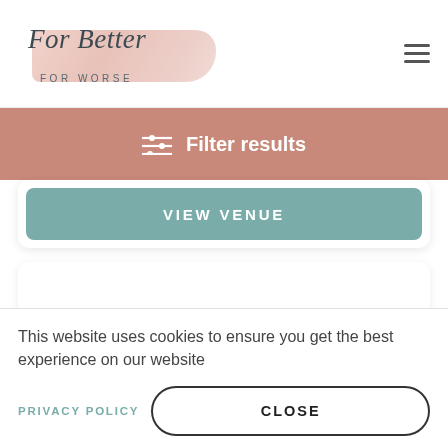For Better FOR WORSE
Filter results
VIEW VENUE
This website uses cookies to ensure you get the best experience on our website
PRIVACY POLICY
CLOSE